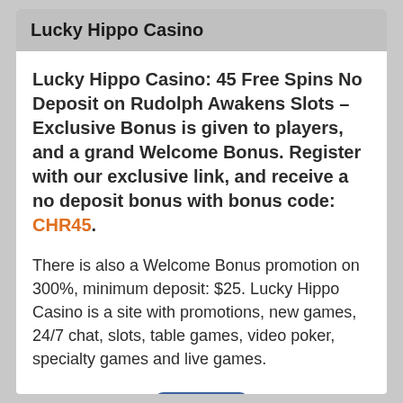Lucky Hippo Casino
Lucky Hippo Casino: 45 Free Spins No Deposit on Rudolph Awakens Slots – Exclusive Bonus is given to players, and a grand Welcome Bonus. Register with our exclusive link, and receive a no deposit bonus with bonus code: CHR45.
There is also a Welcome Bonus promotion on 300%, minimum deposit: $25. Lucky Hippo Casino is a site with promotions, new games, 24/7 chat, slots, table games, video poker, specialty games and live games.
[Figure (other): Blue rounded rectangle button (CTA button, partially visible at bottom of page)]